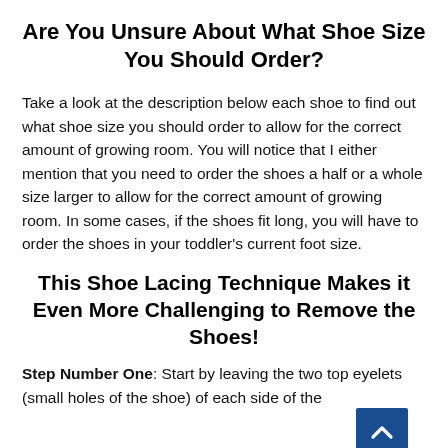Are You Unsure About What Shoe Size You Should Order?
Take a look at the description below each shoe to find out what shoe size you should order to allow for the correct amount of growing room. You will notice that I either mention that you need to order the shoes a half or a whole size larger to allow for the correct amount of growing room. In some cases, if the shoes fit long, you will have to order the shoes in your toddler's current foot size.
This Shoe Lacing Technique Makes it Even More Challenging to Remove the Shoes!
Step Number One: Start by leaving the two top eyelets (small holes of the shoe) of each side of the